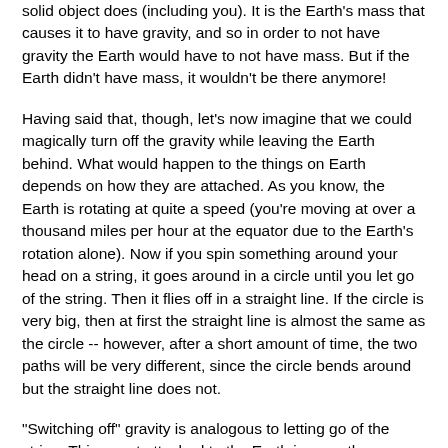solid object does (including you). It is the Earth's mass that causes it to have gravity, and so in order to not have gravity the Earth would have to not have mass. But if the Earth didn't have mass, it wouldn't be there anymore!
Having said that, though, let's now imagine that we could magically turn off the gravity while leaving the Earth behind. What would happen to the things on Earth depends on how they are attached. As you know, the Earth is rotating at quite a speed (you're moving at over a thousand miles per hour at the equator due to the Earth's rotation alone). Now if you spin something around your head on a string, it goes around in a circle until you let go of the string. Then it flies off in a straight line. If the circle is very big, then at first the straight line is almost the same as the circle -- however, after a short amount of time, the two paths will be very different, since the circle bends around but the straight line does not.
"Switching off" gravity is analogous to letting go of the string. Things not attached to the Earth in any other way would fly off into space in a straight line that would take them away from the surface of the Earth. In buildings, people would start floating gently upwards until they